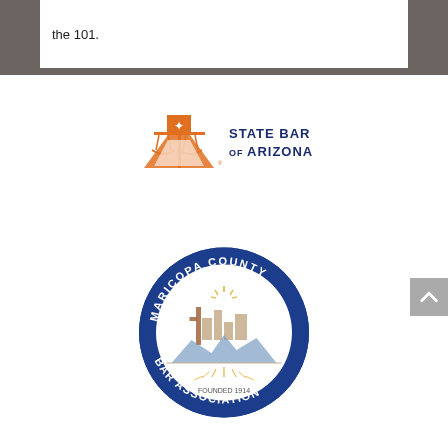the 101.
[Figure (logo): State Bar of Arizona logo — orange scales of justice icon with orange text reading STATE BAR OF ARIZONA in dark navy]
[Figure (logo): Maricopa County Bar Association circular seal — blue border with text MARICOPA COUNTY BAR ASSOCIATION FOUNDED 1914, center shows desert landscape with saguaro cactus, mountains, and city skyline with sunburst rays]